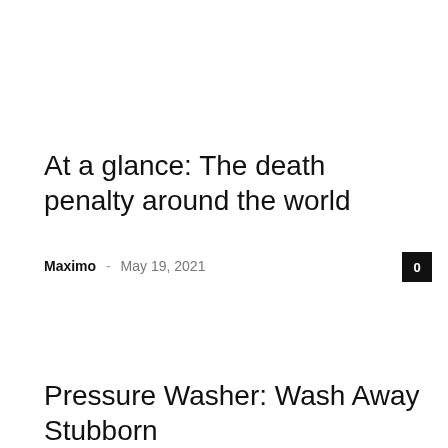At a glance: The death penalty around the world
Maximo – May 19, 2021
Pressure Washer: Wash Away Stubborn